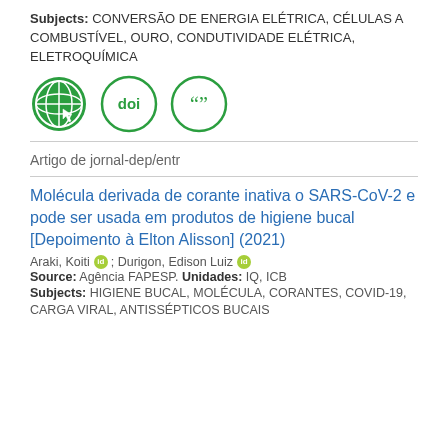Subjects: CONVERSÃO DE ENERGIA ELÉTRICA, CÉLULAS A COMBUSTÍVEL, OURO, CONDUTIVIDADE ELÉTRICA, ELETROQUÍMICA
[Figure (illustration): Three icon buttons: a green globe/web icon, a green DOI badge icon, and a green quotation marks icon]
Artigo de jornal-dep/entr
Molécula derivada de corante inativa o SARS-CoV-2 e pode ser usada em produtos de higiene bucal [Depoimento à Elton Alisson] (2021)
Araki, Koiti; Durigon, Edison Luiz
Source: Agência FAPESP. Unidades: IQ, ICB
Subjects: HIGIENE BUCAL, MOLÉCULA, CORANTES, COVID-19, CARGA VIRAL, ANTISSÉPTICOS BUCAIS